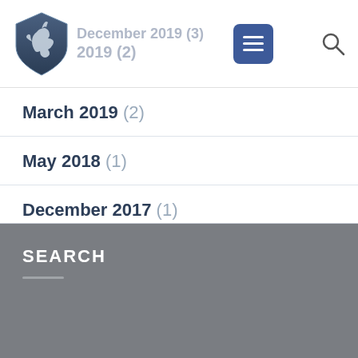December 2019 (3) [partially visible] | 2019 (2) [partially visible]
March 2019 (2)
May 2018 (1)
December 2017 (1)
November 2017 (11)
SEARCH